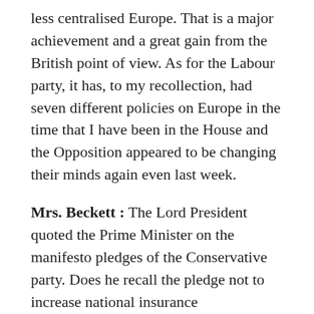less centralised Europe. That is a major achievement and a great gain from the British point of view. As for the Labour party, it has, to my recollection, had seven different policies on Europe in the time that I have been in the House and the Opposition appeared to be changing their minds again even last week.
Mrs. Beckett : The Lord President quoted the Prime Minister on the manifesto pledges of the Conservative party. Does he recall the pledge not to increase national insurance contributions–broken? Does he recall the pledge to maintain mortgage interest relief–broken? How does he square all that with what the Prime Minister said yesterday?
Mr. Newton : My right hon. Friend made the position absolutely clear in his answer last week, in setting out the Government's intentions to review...